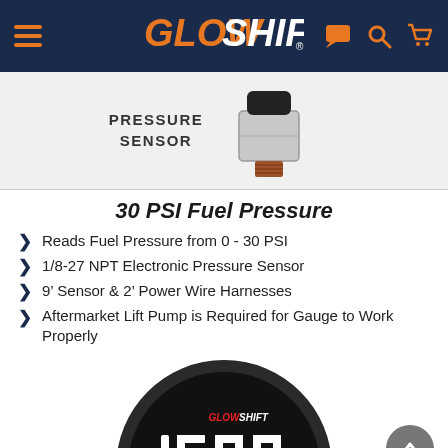GlowShift navigation bar with logo, hamburger menu, chat, search, and cart icons
[Figure (photo): GlowShift pressure sensor product photo with text 'PRESSURE SENSOR']
30 PSI Fuel Pressure
Reads Fuel Pressure from 0 - 30 PSI
1/8-27 NPT Electronic Pressure Sensor
9' Sensor & 2' Power Wire Harnesses
Aftermarket Lift Pump is Required for Gauge to Work Properly
[Figure (photo): GlowShift digital gauge displaying 1500, black circular gauge face with white LED digits and GlowShift logo, labeled DIAMETER at bottom]